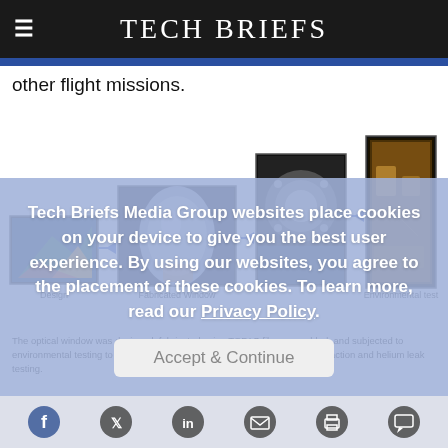TECH BRIEFS
other flight missions.
[Figure (photo): Four-step process diagram showing Design (computer model), Fabricated Window (lens in hand), assembly/mounting (lens in fixture), and Environmental test (hardware in test chamber), connected by blue arrows.]
The optical window was designed, fabricated using TOPAS film, assembled, and subjected to environmental testing to measure breaking stress and high-temperature retraction and helium leak testing.
Tech Briefs Media Group websites place cookies on your device to give you the best user experience. By using our websites, you agree to the placement of these cookies. To learn more, read our Privacy Policy.
Accept & Continue